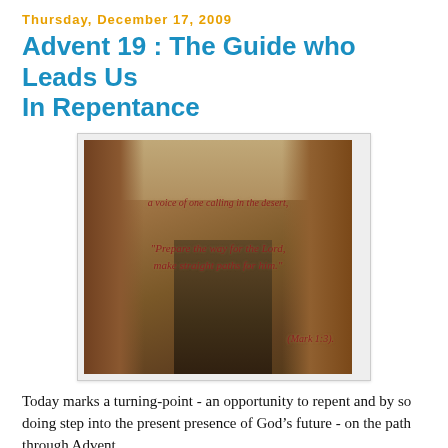Thursday, December 17, 2009
Advent 19 : The Guide who Leads Us In Repentance
[Figure (photo): Desert canyon landscape with scripture text overlay: 'a voice of one calling in the desert,' and '"Prepare the way for the Lord, make straight paths for him."' and '(Mark 1:3).']
Today marks a turning-point - an opportunity to repent and by so doing step into the present presence of God’s future - on the path through Advent.
Today marks the start of the final leg of the Advent journey. Down the centuries, in these last days counting down to Christmas, the